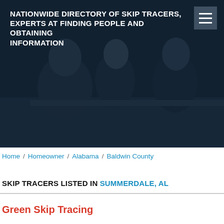NATIONWIDE DIRECTORY OF SKIP TRACERS, EXPERTS AT FINDING PEOPLE AND OBTAINING INFORMATION
[Figure (photo): Dark-toned photo of three people sitting at a table in a meeting: a man with his back to the camera on the left, a woman in the center, and a man in a suit on the right.]
Home / Homeowner / Alabama / Baldwin County
SKIP TRACERS LISTED IN Summerdale, AL
Green Skip Tracing